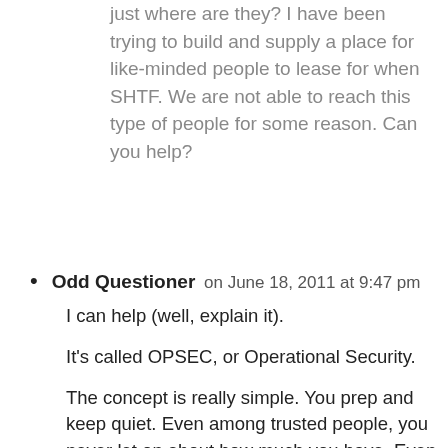people out there doing the same(survival) thing just where are they? I have been trying to build and supply a place for like-minded people to lease for when SHTF. We are not able to reach this type of people for some reason. Can you help?
Odd Questioner on June 18, 2011 at 9:47 pm
I can help (well, explain it).
It's called OPSEC, or Operational Security.
The concept is really simple. You prep and keep quiet. Even among trusted people, you never let on about how much you have. Even in a Mutual Assistance Group, you always keep a bit for yourself, and so will they. Just the way it is.
The reason why is simple, too:
* If everyone in your neighborhood knows you